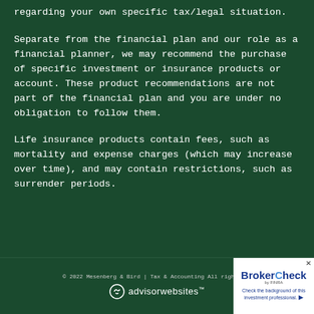regarding your own specific tax/legal situation.
Separate from the financial plan and our role as a financial planner, we may recommend the purchase of specific investment or insurance products or account. These product recommendations are not part of the financial plan and you are under no obligation to follow them.
Life insurance products contain fees, such as mortality and expense charges (which may increase over time), and may contain restrictions, such as surrender periods.
© 2022 Mesenberg & Bird | Tax & Accounting All rights reserved. advisorwebsites™